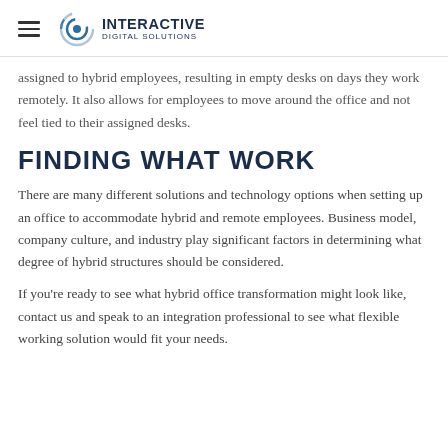INTERACTIVE DIGITAL SOLUTIONS
assigned to hybrid employees, resulting in empty desks on days they work remotely. It also allows for employees to move around the office and not feel tied to their assigned desks.
FINDING WHAT WORK
There are many different solutions and technology options when setting up an office to accommodate hybrid and remote employees. Business model, company culture, and industry play significant factors in determining what degree of hybrid structures should be considered.
If you're ready to see what hybrid office transformation might look like, contact us and speak to an integration professional to see what flexible working solution would fit your needs.